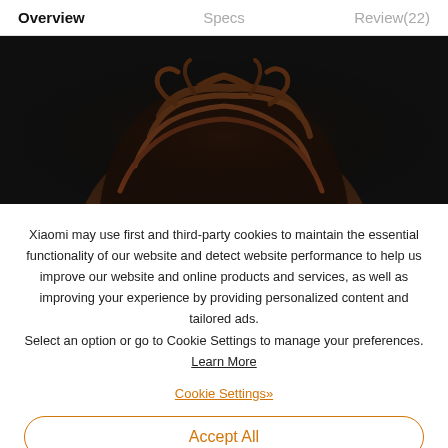Overview   Specs   Review(22)
[Figure (photo): Back of a person's head with curly brown hair against a dark background]
Xiaomi may use first and third-party cookies to maintain the essential functionality of our website and detect website performance to help us improve our website and online products and services, as well as improving your experience by providing personalized content and tailored ads. Select an option or go to Cookie Settings to manage your preferences. Learn More
Cookie Settings»
Accept All